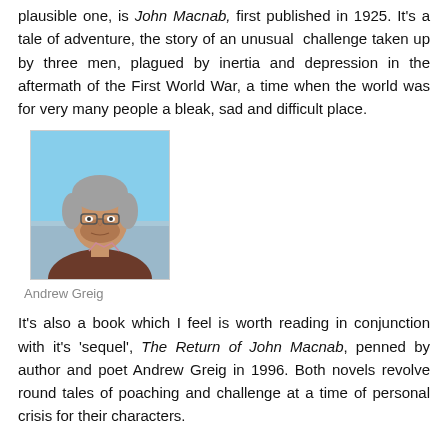plausible one, is John Macnab, first published in 1925. It's a tale of adventure, the story of an unusual challenge taken up by three men, plagued by inertia and depression in the aftermath of the First World War, a time when the world was for very many people a bleak, sad and difficult place.
[Figure (photo): Portrait photo of Andrew Greig, a middle-aged man with grey hair and glasses, wearing a brown jacket, photographed outdoors with a cityscape in background.]
Andrew Greig
It's also a book which I feel is worth reading in conjunction with it's 'sequel', The Return of John Macnab, penned by author and poet Andrew Greig in 1996. Both novels revolve round tales of poaching and challenge at a time of personal crisis for their characters.